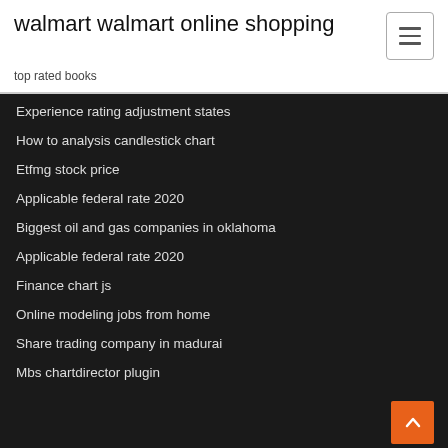walmart walmart online shopping
top rated books
Experience rating adjustment states
How to analysis candlestick chart
Etfmg stock price
Applicable federal rate 2020
Biggest oil and gas companies in oklahoma
Applicable federal rate 2020
Finance chart js
Online modeling jobs from home
Share trading company in madurai
Mbs chartdirector plugin